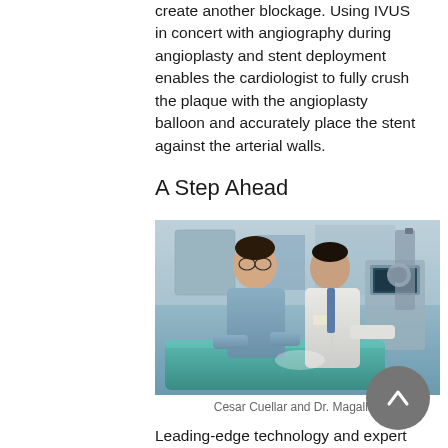create another blockage. Using IVUS in concert with angiography during angioplasty and stent deployment enables the cardiologist to fully crush the plaque with the angioplasty balloon and accurately place the stent against the arterial walls.
A Step Ahead
[Figure (photo): Two medical professionals — one in blue scrubs and one in a white coat — standing in a medical procedure room next to a teal examination table and medical equipment including a monitor on a robotic arm.]
Cesar Cuellar and Dr. Magallon
Leading-edge technology and expert